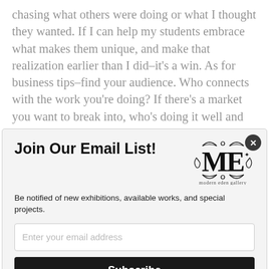chasing what others were doing or what I thought they wanted. If I can help my students embrace what makes them unique, and make that realization earlier than I did–it's a win. As for business tips–find your audience. Who connects with the work you're doing? If there's a market you want to break into, who's doing it well and where are they working. Can you approach the same problem in a way that's unique to you? Seek out your path, because it won't be the same as anyone
[Figure (other): Email signup modal overlay for Modern Eden Gallery. Contains title 'Join Our Email List!', description 'Be notified of new exhibitions, available works, and special projects.', an email input field, a Subscribe button, and the Modern Eden Gallery logo with decorative 'ME' monogram.]